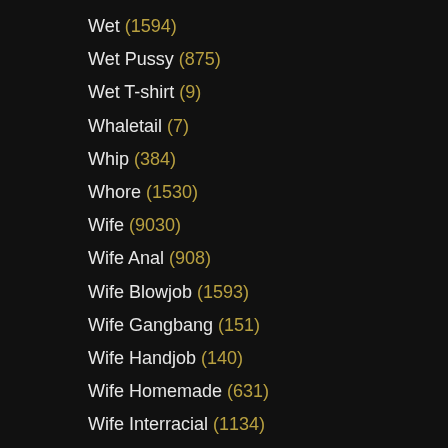Wet (1594)
Wet Pussy (875)
Wet T-shirt (9)
Whaletail (7)
Whip (384)
Whore (1530)
Wife (9030)
Wife Anal (908)
Wife Blowjob (1593)
Wife Gangbang (151)
Wife Handjob (140)
Wife Homemade (631)
Wife Interracial (1134)
Wife Swap (22)
Wife Threesome (342)
Wife Watchand husband (22)